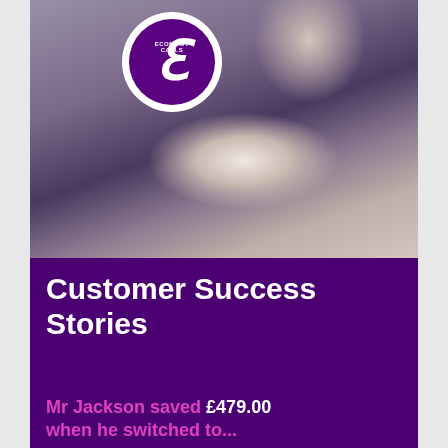[Figure (photo): Person using a laptop or tablet, photo with purple-toned filter and Economy Calls logo overlay]
Customer Success Stories
Mr Jackson saved £479.00 when he switched to...